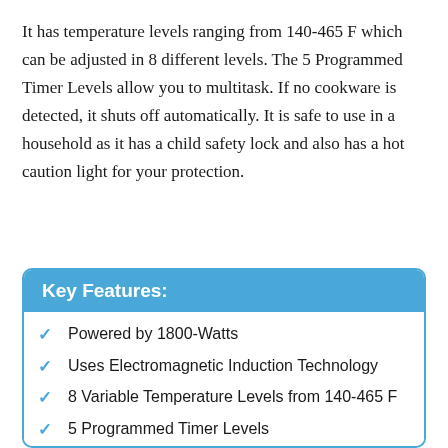It has temperature levels ranging from 140-465 F which can be adjusted in 8 different levels. The 5 Programmed Timer Levels allow you to multitask. If no cookware is detected, it shuts off automatically. It is safe to use in a household as it has a child safety lock and also has a hot caution light for your protection.
Key Features:
Powered by 1800-Watts
Uses Electromagnetic Induction Technology
8 Variable Temperature Levels from 140-465 F
5 Programmed Timer Levels